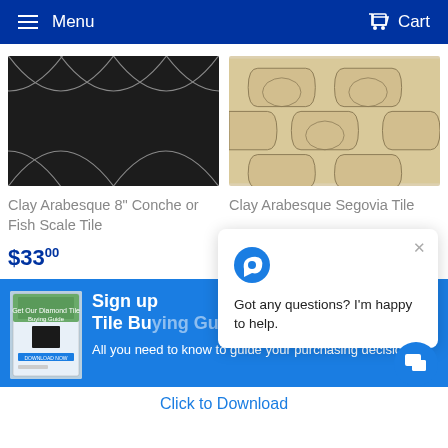Menu  Cart
[Figure (photo): Dark charcoal arabesque/fan-shaped clay tiles with silver grout lines]
Clay Arabesque 8" Conche or Fish Scale Tile
$3300
[Figure (photo): Beige/tan arabesque Segovia shaped clay tiles arranged in a pattern]
Clay Arabesque Segovia Tile
$4700
[Figure (infographic): Blue banner with tile buying guide book image and sign up text]
Sign up Tile Bu
All you need to know to guide your purchasing decision.
Click to Download
Got any questions? I'm happy to help.